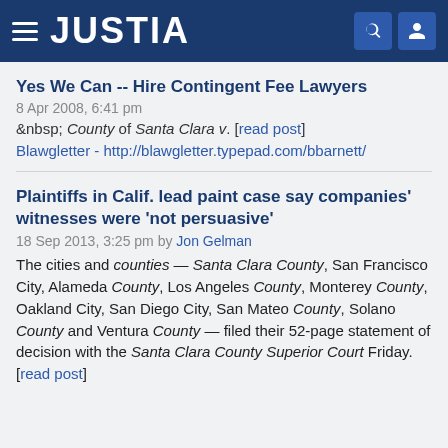JUSTIA
Yes We Can -- Hire Contingent Fee Lawyers
8 Apr 2008, 6:41 pm
&nbsp; County of Santa Clara v. [read post]
Blawgletter - http://blawgletter.typepad.com/bbarnett/
Plaintiffs in Calif. lead paint case say companies' witnesses were 'not persuasive'
18 Sep 2013, 3:25 pm by Jon Gelman
The cities and counties — Santa Clara County, San Francisco City, Alameda County, Los Angeles County, Monterey County, Oakland City, San Diego City, San Mateo County, Solano County and Ventura County — filed their 52-page statement of decision with the Santa Clara County Superior Court Friday. [read post]